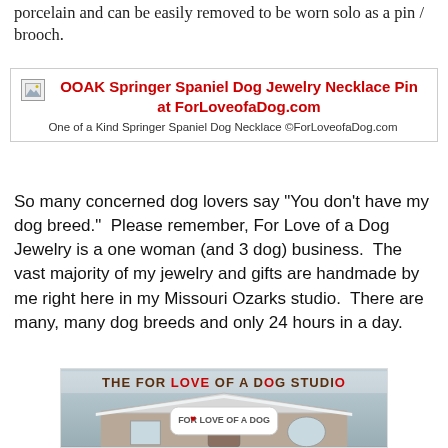porcelain and can be easily removed to be worn solo as a pin / brooch.
[Figure (other): Linked image box for OOAK Springer Spaniel Dog Jewelry Necklace Pin at ForLoveofaDog.com with caption: One of a Kind Springer Spaniel Dog Necklace ©ForLoveofaDog.com]
So many concerned dog lovers say "You don't have my dog breed."  Please remember, For Love of a Dog Jewelry is a one woman (and 3 dog) business.  The vast majority of my jewelry and gifts are handmade by me right here in my Missouri Ozarks studio.  There are many, many dog breeds and only 24 hours in a day.
[Figure (photo): Photo of The For Love of a Dog Studio building exterior in winter with snow, showing the studio sign with a dog bone logo and text FOR LOVE OF A DOG Jewelry & Gifts]